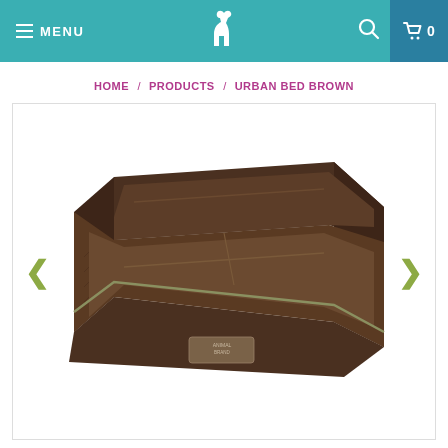MENU | [logo] | [search] | 0
HOME / PRODUCTS / URBAN BED BROWN
[Figure (photo): Brown urban dog bed with cushioned sides and padded interior, photographed at an angle showing 3D form. Brand label on front face. Olive/khaki piping detail.]